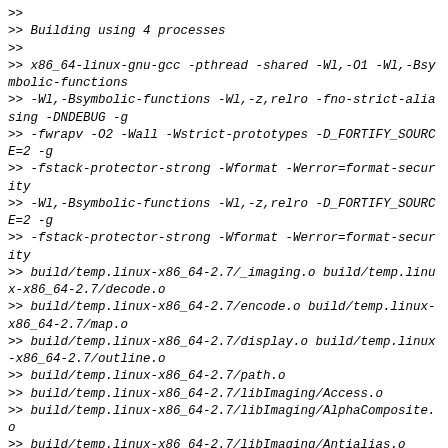>> Building using 4 processes
>>
>> x86_64-linux-gnu-gcc -pthread -shared -Wl,-O1 -Wl,-Bsymbolic-functions
>> -Wl,-Bsymbolic-functions -Wl,-z,relro -fno-strict-aliasing -DNDEBUG -g
>> -fwrapv -O2 -Wall -Wstrict-prototypes -D_FORTIFY_SOURCE=2 -g
>> -fstack-protector-strong -Wformat -Werror=format-security
>> -Wl,-Bsymbolic-functions -Wl,-z,relro -D_FORTIFY_SOURCE=2 -g
>> -fstack-protector-strong -Wformat -Werror=format-security
>> build/temp.linux-x86_64-2.7/_imaging.o build/temp.linux-x86_64-2.7/decode.o
>> build/temp.linux-x86_64-2.7/encode.o build/temp.linux-x86_64-2.7/map.o
>> build/temp.linux-x86_64-2.7/display.o build/temp.linux-x86_64-2.7/outline.o
>> build/temp.linux-x86_64-2.7/path.o
>> build/temp.linux-x86_64-2.7/libImaging/Access.o
>> build/temp.linux-x86_64-2.7/libImaging/AlphaComposite.o
>> build/temp.linux-x86_64-2.7/libImaging/Antialias.o
>> build/temp.linux-x86_64-2.7/libImaging/Bands.o
>> build/temp.linux-x86_64-2.7/libImaging/BitDecode.o
>> build/temp.linux-x86_64-2.7/libImaging/Blend.o
>> build/temp.linux-x86_64-2.7/libImaging/Chops.o
>> build/temp.linux-x86_64-2.7/libImaging/Convert.o